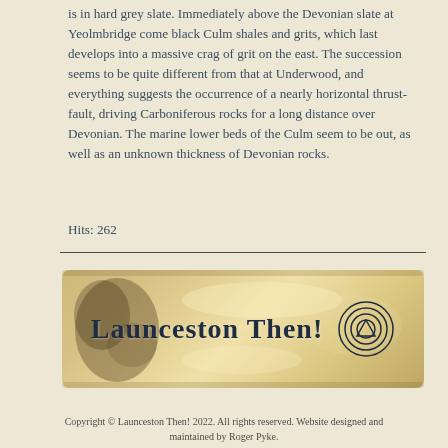is in hard grey slate. Immediately above the Devonian slate at Yeolmbridge come black Culm shales and grits, which last develops into a massive crag of grit on the east. The succession seems to be quite different from that at Underwood, and everything suggests the occurrence of a nearly horizontal thrust-fault, driving Carboniferous rocks for a long distance over Devonian. The marine lower beds of the Culm seem to be out, as well as an unknown thickness of Devonian rocks.
Hits: 262
[Figure (logo): Launceston Then! website logo on a golden parchment-textured background with a circular spiral symbol]
Copyright © Launceston Then! 2022. All rights reserved. Website designed and maintained by Roger Pyke.